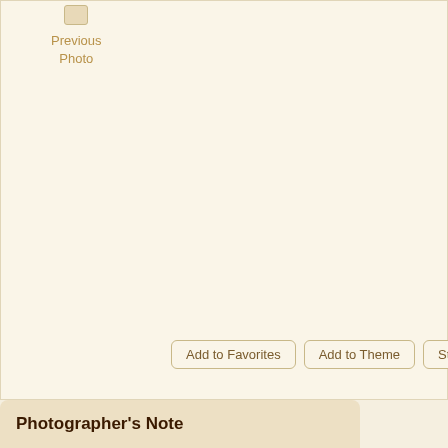Previous
Photo
Add to Favorites
Add to Theme
Start Discussion
Po...
Photographer's Note